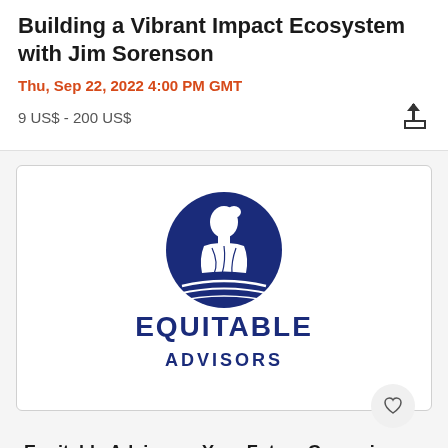Building a Vibrant Impact Ecosystem with Jim Sorenson
Thu, Sep 22, 2022 4:00 PM GMT
9 US$ - 200 US$
[Figure (logo): Equitable Advisors logo: blue circle with classical profile figure and text EQUITABLE ADVISORS in dark navy below]
Equitable Advisors - Your Future Career in Financial Services